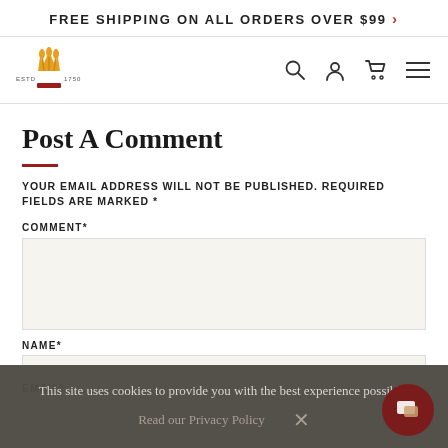FREE SHIPPING ON ALL ORDERS OVER $99 >
[Figure (logo): Crown/wheat logo with ESTD 1750 text]
Post A Comment
YOUR EMAIL ADDRESS WILL NOT BE PUBLISHED. REQUIRED FIELDS ARE MARKED *
COMMENT*
NAME*
EMAIL*
This site uses cookies to provide you with the best experience possible.
Read our Privacy Policy